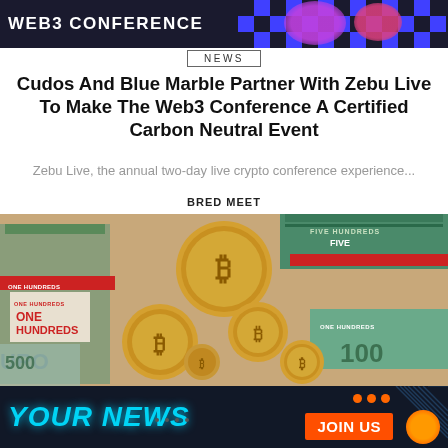WEB3 CONFERENCE
NEWS
Cudos And Blue Marble Partner With Zebu Live To Make The Web3 Conference A Certified Carbon Neutral Event
Zebu Live, the annual two-day live crypto conference experience...
BRED MEET
[Figure (photo): Bitcoin gold coins stacked on top of Euro banknotes bundled with bands reading ONE HUNDREDS and FIVE HUNDREDS]
YOUR NEWS  JOIN US